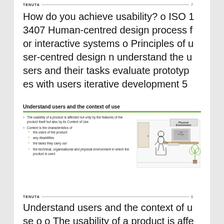TENUTA
How do you achieve usability? o ISO 13407 Human-centred design process for interactive systems o Principles of user-centred design n understand the users and their tasks evaluate prototypes with users iterative development 5
[Figure (screenshot): Slide titled 'Understand users and the context of use' with a green underline, bullet points about usability and context of use, and an illustration of a person working at a computer workstation with 'Physical Environment' labeled.]
TENUTA
Understand users and the context of use o o The usability of a product is affected not only by the features of the product itself but also by its Context of Use Context is the characteristics of: n n t